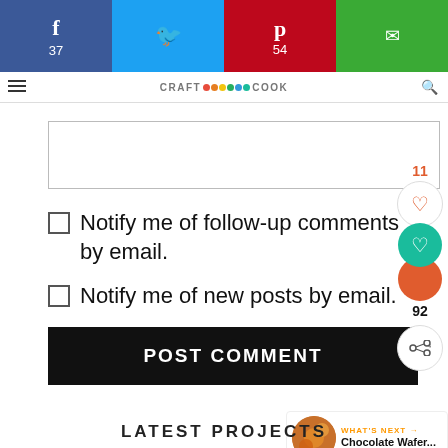[Figure (screenshot): Social share bar with Facebook (37), Twitter, Pinterest (54), and Email buttons]
[Figure (screenshot): Navigation bar with hamburger menu, Craftaholique logo with colorful dots, and search icon]
Notify me of follow-up comments by email.
Notify me of new posts by email.
POST COMMENT
[Figure (infographic): Side widget with vote count 11, heart icons, 92 count, and share button]
[Figure (infographic): What's Next panel with Chocolate Wafer... label and food image]
LATEST PROJECTS